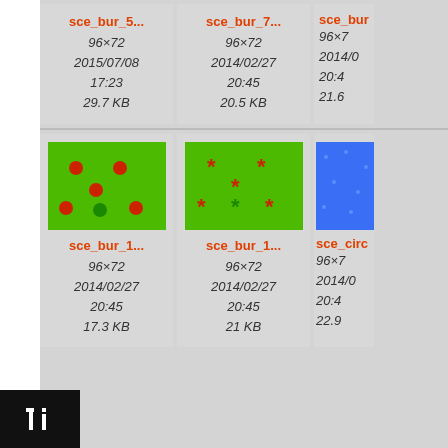[Figure (screenshot): File browser grid showing image thumbnails with metadata. Row 1: sce_bur_5... (96x72, 2015/07/08 17:23, 29.7 KB), sce_bur_7... (96x72, 2014/02/27 20:45, 20.5 KB), sce_bur... partial (96x7, 2014/0, 20:4, 21.6). Row 2: sce_bur_1... green image with red dots (96x72, 2014/02/27 20:45, 17.3 KB), sce_bur_1... green image with red asterisks (96x72, 2014/02/27 20:45, 21 KB), sce_circ... blue image partial (96x7, 2014/0, 20:4, 22.9).]
sce_bur_5...  96×72  2015/07/08  17:23  29.7 KB
sce_bur_7...  96×72  2014/02/27  20:45  20.5 KB
sce_bur  96×7  2014/0  20:4  21.6
sce_bur_1...  96×72  2014/02/27  20:45  17.3 KB
sce_bur_1...  96×72  2014/02/27  20:45  21 KB
sce_circ  96×7  2014/0  20:4  22.9
[Figure (logo): Black square with white 'Ti' text logo in bottom left corner]